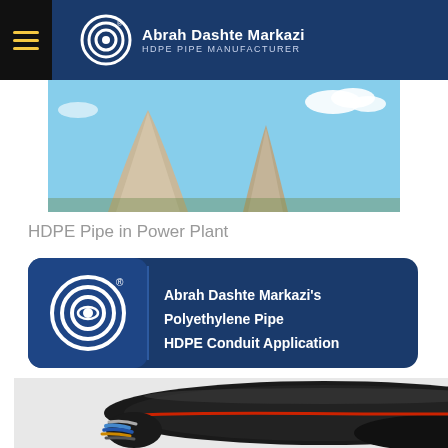Abrah Dashte Markazi HDPE PIPE MANUFACTURER
[Figure (photo): Industrial cooling towers against blue sky with clouds]
HDPE Pipe in Power Plant
[Figure (logo): Abrah Dashte Markazi brand banner with concentric circle logo and text: Abrah Dashte Markazi's Polyethylene Pipe HDPE Conduit Application]
[Figure (photo): HDPE conduit pipes showing cables inside, black pipes with colored cable strands]